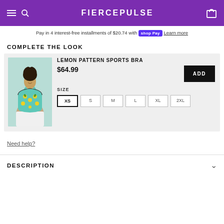FIERCEPULSE
Pay in 4 interest-free installments of $20.74 with Shop Pay  Learn more
COMPLETE THE LOOK
[Figure (photo): Woman wearing a lemon pattern sports bra with white bottoms]
LEMON PATTERN SPORTS BRA
$64.99
SIZE
XS  S  M  L  XL  2XL
Need help?
DESCRIPTION